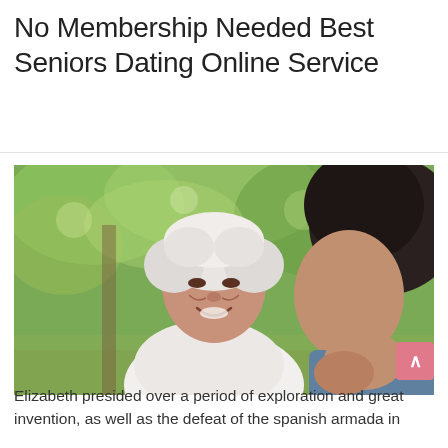No Membership Needed Best Seniors Dating Online Service
[Figure (photo): An elderly woman with white hair smiling warmly, facing a younger person (seen from behind/side). Background is blurred green foliage outdoors.]
Elizabeth presided over a period of exploration and great invention, as well as the defeat of the spanish armada in